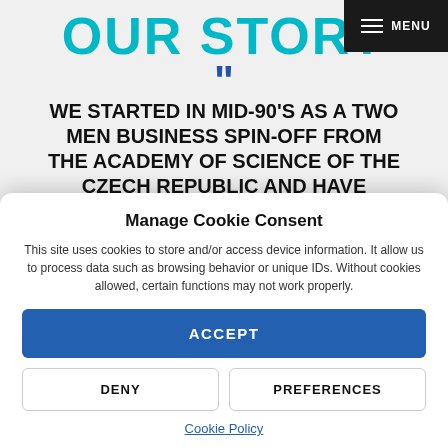MENU
OUR STORY
WE STARTED IN MID-90'S AS A TWO MEN BUSINESS SPIN-OFF FROM THE ACADEMY OF SCIENCE OF THE CZECH REPUBLIC AND HAVE EVOLVED IN A COMPANY PRODUCING THOUSANDS OF BULK PARTS PER YEAR.
We have supplied our products to several thousands customers in more than 45 countries and we actively cooperate with major
Manage Cookie Consent
This site uses cookies to store and/or access device information. It allow us to process data such as browsing behavior or unique IDs. Without cookies allowed, certain functions may not work properly.
ACCEPT
DENY
PREFERENCES
Cookie Policy